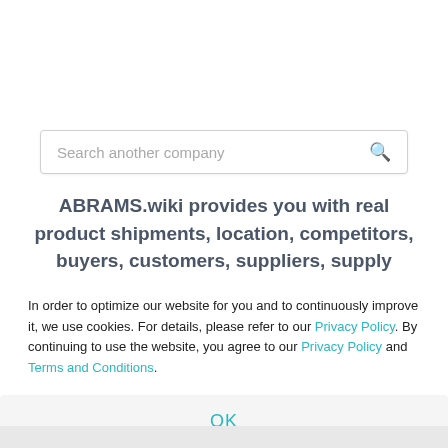[Figure (screenshot): Search box with placeholder text 'Search another company' and an orange search icon on the right]
ABRAMS.wiki provides you with real product shipments, location, competitors, buyers, customers, suppliers, supply chain, products,
In order to optimize our website for you and to continuously improve it, we use cookies. For details, please refer to our Privacy Policy. By continuing to use the website, you agree to our Privacy Policy and Terms and Conditions.
OK